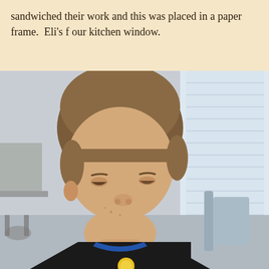sandwiched their work and this was placed in a paper frame.  Eli's f our kitchen window.
[Figure (photo): A young boy with brown hair in a bowl cut, wearing a black shirt with a blue collar, looking downward. He is seated in a room that appears to be a classroom or office, with blinds visible in the background and furniture behind him.]